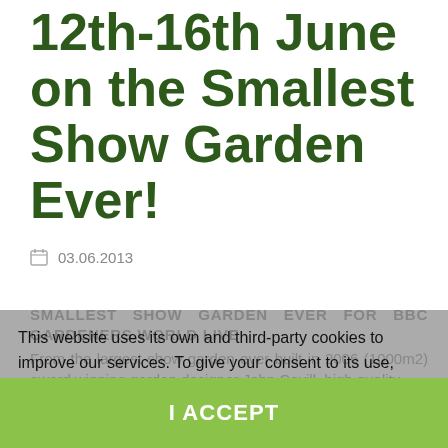Gardeners World 12th-16th June on the Smallest Show Garden Ever!
03.06.2013
SMALLEST SHOW GARDEN EVER FOR BBC GARDENERS WORLD LIVE
From the largest show garden ever built in 2006 (1000m2) award winning garden designer John Cavill, high quality
This website uses its own and third-party cookies to improve our services. To give your consent to its use, press the Accept button.  More information  customize cookies
I ACCEPT